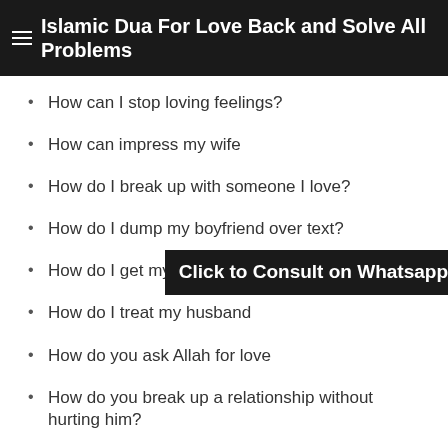Islamic Dua For Love Back and Solve All Problems
How can I stop loving feelings?
How can impress my wife
How do I break up with someone I love?
How do I dump my boyfriend over text?
How do I get my loved one back?
How do I treat my husband
How do you ask Allah for love
How do you break up a relationship without hurting him?
how do you do istikhara with names
How do you dua someone